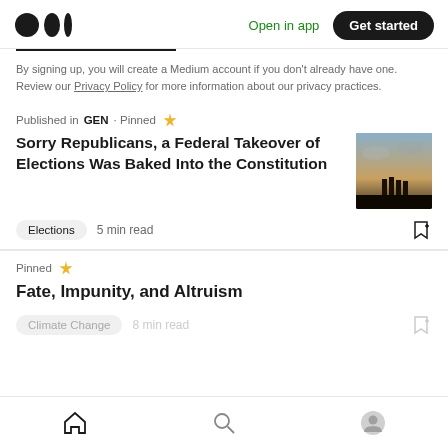Medium logo | Open in app | Get started
By signing up, you will create a Medium account if you don't already have one. Review our Privacy Policy for more information about our privacy practices.
Published in GEN · Pinned
Sorry Republicans, a Federal Takeover of Elections Was Baked Into the Constitution
Elections  5 min read
Pinned
Fate, Impunity, and Altruism
Climate Change  8 min read
Home | Search | Profile